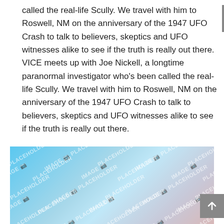called the real-life Scully. We travel with him to Roswell, NM on the anniversary of the 1947 UFO Crash to talk to believers, skeptics and UFO witnesses alike to see if the truth is really out there. VICE meets up with Joe Nickell, a longtime paranormal investigator who's been called the real-life Scully. We travel with him to Roswell, NM on the anniversary of the 1947 UFO Crash to talk to believers, skeptics and UFO witnesses alike to see if the truth is really out there.
[Figure (photo): Image placeholder with blue-to-grey gradient background and repeated 'IMAGE PLACEHOLDER' watermark text]